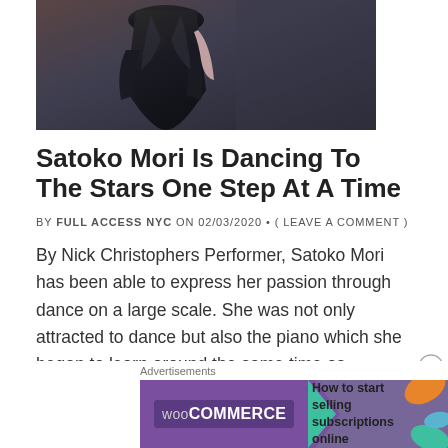[Figure (photo): Partial photo of a woman in a black dress against a dark background, cropped to show lower body/torso area.]
Satoko Mori Is Dancing To The Stars One Step At A Time
BY FULL ACCESS NYC ON 02/03/2020 • ( LEAVE A COMMENT )
By Nick Christophers Performer, Satoko Mori has been able to express her passion through dance on a large scale. She was not only attracted to dance but also the piano which she began to learn around the same time as dancing. Her mother, who is a pianist, was [...]
[Figure (screenshot): WooCommerce advertisement banner: 'How to start selling subscriptions online']